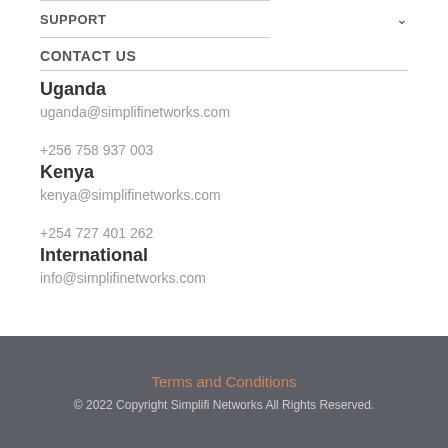SUPPORT
CONTACT US
Uganda
uganda@simplifinetworks.com
+256 758 937 003
Kenya
kenya@simplifinetworks.com
+254 727 401 262
International
info@simplifinetworks.com
Terms and Conditions
© 2022 Copyright Simplifi Networks All Rights Reserved.